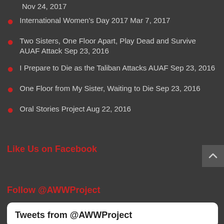Nov 24, 2017
International Women's Day 2017 Mar 7, 2017
Two Sisters, One Floor Apart, Play Dead and Survive AUAF Attack Sep 23, 2016
I Prepare to Die as the Taliban Attacks AUAF Sep 23, 2016
One Floor from My Sister, Waiting to Die Sep 23, 2016
Oral Stories Project Aug 22, 2016
Like Us on Facebook
Follow @AWWProject
Tweets from @AWWProject